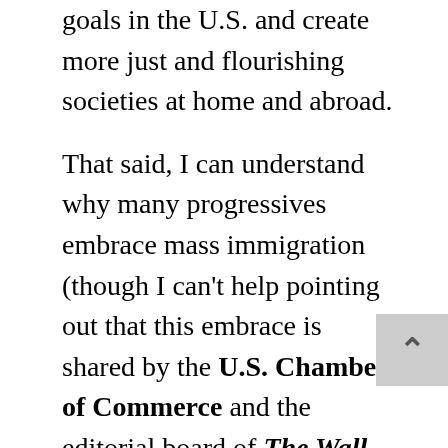goals in the U.S. and create more just and flourishing societies at home and abroad.
That said, I can understand why many progressives embrace mass immigration (though I can't help pointing out that this embrace is shared by the U.S. Chamber of Commerce and the editorial board of The Wall Street Journal, who regularly lobby for greatly increased immigration). Immigration is not an easy issue for those of us looking to create fairer, more egalitarian societies, precisely because